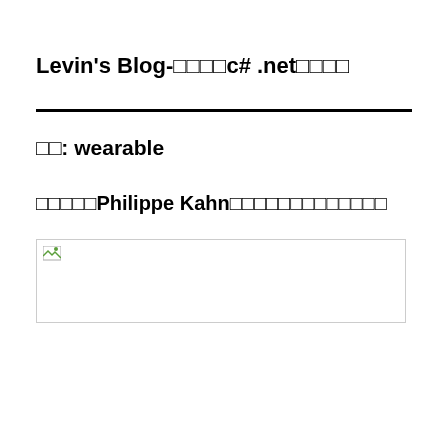Levin's Blog-□□□□c# .net□□□□
□□: wearable
□□□□□Philippe Kahn□□□□□□□□□□□□□
[Figure (photo): Image placeholder with broken image icon in top-left corner]